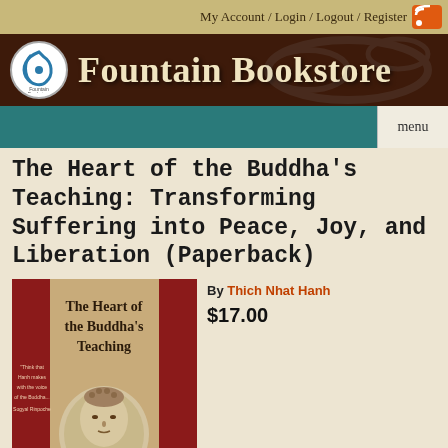My Account / Login / Logout / Register
Fountain Bookstore
menu
The Heart of the Buddha's Teaching: Transforming Suffering into Peace, Joy, and Liberation (Paperback)
By Thich Nhat Hanh
$17.00
[Figure (photo): Book cover of The Heart of the Buddha's Teaching by Thich Nhat Hanh, showing the title in dark text on a tan/brown background with red vertical stripe accents and a Buddha head sculpture image]